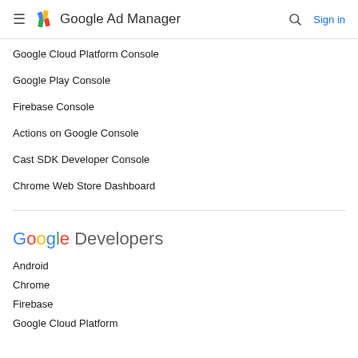Google Ad Manager
Google Cloud Platform Console
Google Play Console
Firebase Console
Actions on Google Console
Cast SDK Developer Console
Chrome Web Store Dashboard
[Figure (logo): Google Developers logo with colorful Google letters and grey Developers text]
Android
Chrome
Firebase
Google Cloud Platform